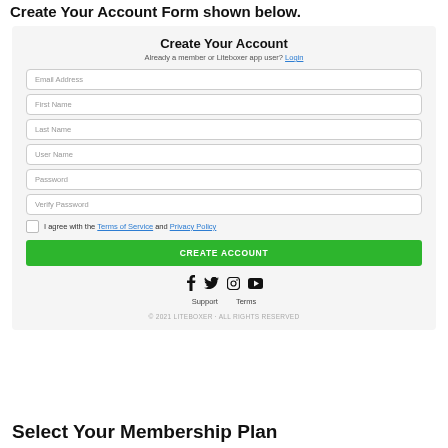Create Your Account Form shown below.
[Figure (screenshot): Create Your Account web form with fields for Email Address, First Name, Last Name, User Name, Password, Verify Password, a Terms of Service/Privacy Policy checkbox, and a green CREATE ACCOUNT button, followed by social media icons, Support/Terms links, and copyright footer.]
Select Your Membership Plan